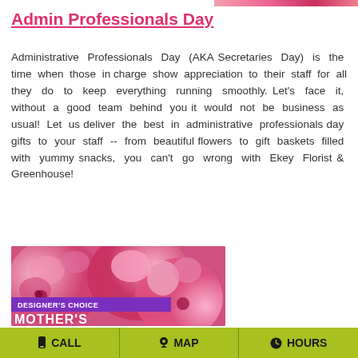Admin Professionals Day
Administrative Professionals Day (AKA Secretaries Day) is the time when those in charge show appreciation to their staff for all they do to keep everything running smoothly. Let's face it, without a good team behind you it would not be business as usual! Let us deliver the best in administrative professionals day gifts to your staff -- from beautiful flowers to gift baskets filled with yummy snacks, you can't go wrong with Ekey Florist & Greenhouse!
[Figure (photo): Pink and rose floral arrangement with a purple banner reading DESIGNER'S CHOICE and partial MOTHER'S text below]
CALL   MAP   HOURS